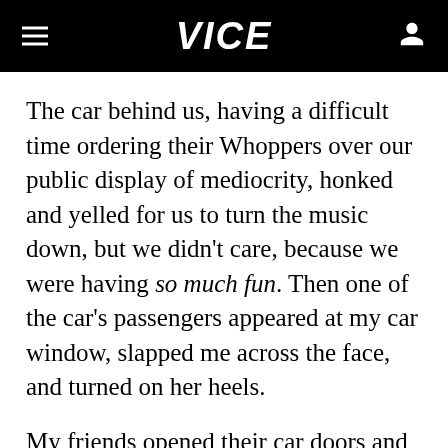VICE
The car behind us, having a difficult time ordering their Whoppers over our public display of mediocrity, honked and yelled for us to turn the music down, but we didn't care, because we were having so much fun. Then one of the car's passengers appeared at my car window, slapped me across the face, and turned on her heels.
My friends opened their car doors and jumped out. They were ready for a confrontation, the restaurant's employees threatened to call the cops, and the car behind us fled the scene. But I